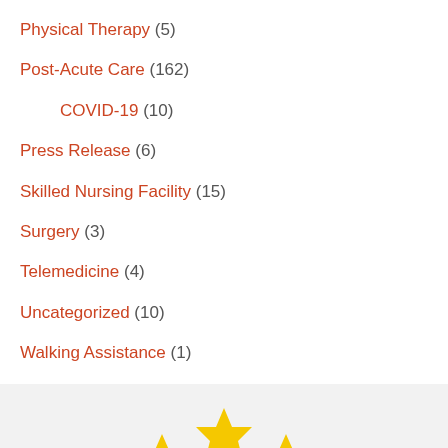Physical Therapy (5)
Post-Acute Care (162)
COVID-19 (10)
Press Release (6)
Skilled Nursing Facility (15)
Surgery (3)
Telemedicine (4)
Uncategorized (10)
Walking Assistance (1)
[Figure (logo): Five yellow stars arranged in an arc above a blue swoosh logo, partially visible at bottom of page]